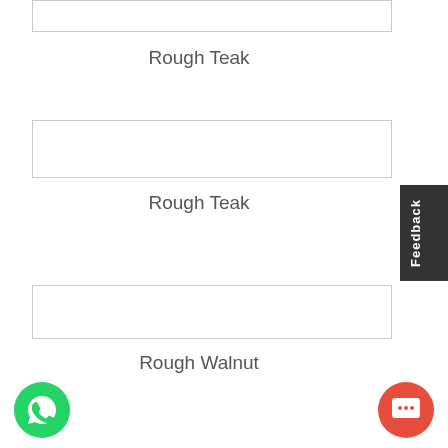[Figure (other): Image box 1 - top rectangle with border, light/white interior]
Rough Teak
[Figure (other): Image box 2 - middle rectangle with border, light/white interior]
Rough Teak
[Figure (other): Image box 3 - lower rectangle with border, light/white interior]
Rough Walnut